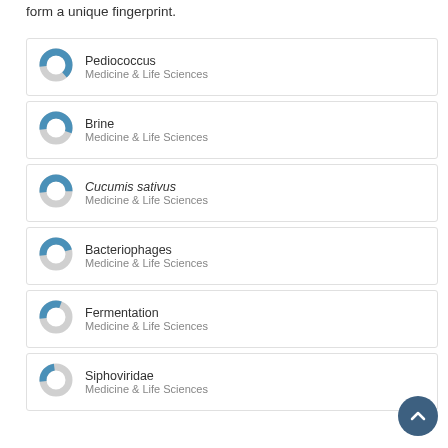form a unique fingerprint.
[Figure (donut-chart): Donut chart for Pediococcus, approximately 65% filled in blue]
Pediococcus
Medicine & Life Sciences
[Figure (donut-chart): Donut chart for Brine, approximately 55% filled in blue]
Brine
Medicine & Life Sciences
[Figure (donut-chart): Donut chart for Cucumis sativus, approximately 50% filled in blue]
Cucumis sativus
Medicine & Life Sciences
[Figure (donut-chart): Donut chart for Bacteriophages, approximately 45% filled in blue]
Bacteriophages
Medicine & Life Sciences
[Figure (donut-chart): Donut chart for Fermentation, approximately 30% filled in blue]
Fermentation
Medicine & Life Sciences
[Figure (donut-chart): Donut chart for Siphoviridae, approximately 25% filled in blue]
Siphoviridae
Medicine & Life Sciences